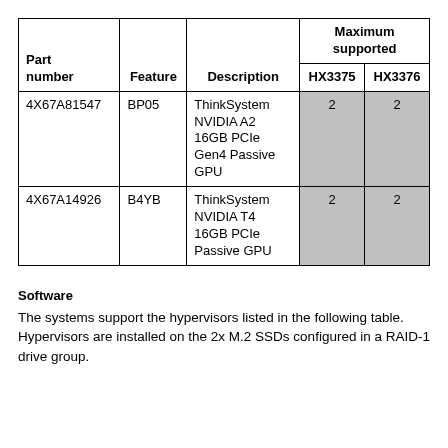| Part number | Feature | Description | Maximum supported HX3375 | Maximum supported HX3376 |
| --- | --- | --- | --- | --- |
| 4X67A81547 | BP05 | ThinkSystem NVIDIA A2 16GB PCIe Gen4 Passive GPU | 2 | 2 |
| 4X67A14926 | B4YB | ThinkSystem NVIDIA T4 16GB PCIe Passive GPU | 2 | 2 |
Software
The systems support the hypervisors listed in the following table. Hypervisors are installed on the 2x M.2 SSDs configured in a RAID-1 drive group.